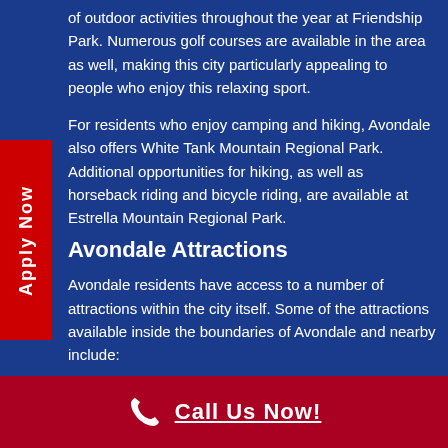of outdoor activities throughout the year at Friendship Park. Numerous golf courses are available in the area as well, making this city particularly appealing to people who enjoy this relaxing sport.
For residents who enjoy camping and hiking, Avondale also offers White Tank Mountain Regional Park. Additional opportunities for hiking, as well as horseback riding and bicycle riding, are available at Estrella Mountain Regional Park.
Avondale Attractions
Avondale residents have access to a number of attractions within the city itself. Some of the attractions available inside the boundaries of Avondale and nearby include:
Call Us Now!